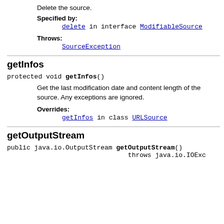Delete the source.
Specified by:
delete in interface ModifiableSource
Throws:
SourceException
getInfos
protected void getInfos()
Get the last modification date and content length of the source. Any exceptions are ignored.
Overrides:
getInfos in class URLSource
getOutputStream
public java.io.OutputStream getOutputStream()  throws java.io.IOExc